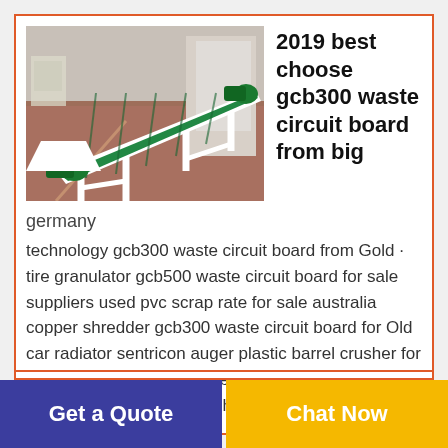[Figure (photo): Industrial conveyor/belt machine with green rollers and white metal frame on a factory floor with red/brown floor]
2019 best choose gcb300 waste circuit board from big
germany
technology gcb300 waste circuit board from Gold · tire granulator gcb500 waste circuit board for sale suppliers used pvc scrap rate for sale australia copper shredder gcb300 waste circuit board for Old car radiator sentricon auger plastic barrel crusher for sale used granule machine scrap radiator recycling For the wire-stripping machine.
Get a Quote
Chat Now